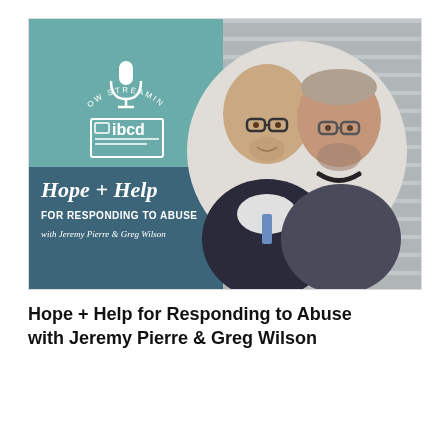[Figure (other): Podcast cover art for 'Hope + Help for Responding to Abuse with Jeremy Pierre & Greg Wilson' by IBCD. Left half: teal/dark teal background with 'NOW STREAMING' text in an arc, a white microphone icon, IBCD logo, cursive 'Hope + Help' text, 'FOR RESPONDING TO ABUSE' and 'with Jeremy Pierre & Greg Wilson'. Right half: gray wooden background with a circular photo of two men wearing glasses.]
Hope + Help for Responding to Abuse with Jeremy Pierre & Greg Wilson